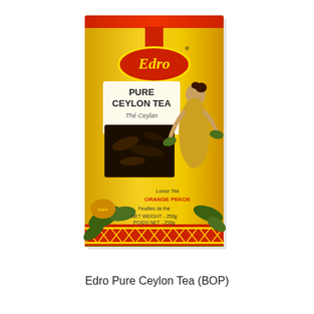[Figure (photo): Product photo of Edro Pure Ceylon Tea (BOP) box. The box has a yellow and red design with the Edro brand oval logo at the top, 'PURE CEYLON TEA' and 'Thé Ceylan' text in the center, an illustration of a woman picking tea leaves, a window showing loose black tea leaves, and text reading 'ORANGE PEKOE', 'Feuilles de thé', 'NET WEIGHT - 250g', 'POIDS NET - 250g' at the bottom.]
Edro Pure Ceylon Tea (BOP)